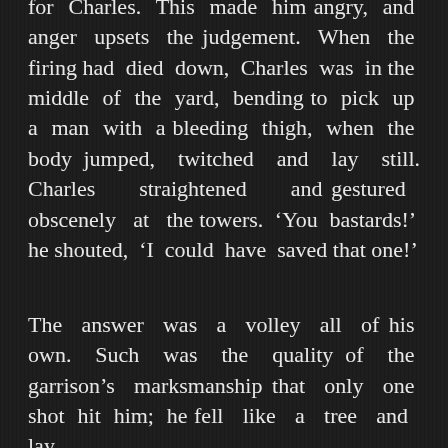for Charles. This made him angry, and anger upsets the judgement. When the firing had died down, Charles was in the middle of the yard, bending to pick up a man with a bleeding thigh, when the body jumped, twitched and lay still. Charles straightened and gestured obscenely at the towers. ‘You bastards!’ he shouted, ‘I could have saved that one!’
The answer was a volley all of his own. Such was the quality of the garrison’s marksmanship that only one shot hit him; he fell like a tree and lay